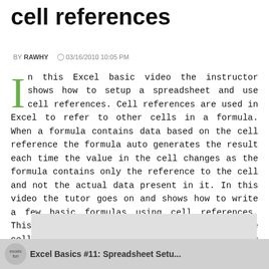cell references
BY RAWHY   03/16/2010 10:05 PM
In this Excel basic video the instructor shows how to setup a spreadsheet and use cell references. Cell references are used in Excel to refer to other cells in a formula. When a formula contains data based on the cell reference the formula auto generates the result each time the value in the cell changes as the formula contains only the reference to the cell and not the actual data present in it. In this video the tutor goes on and shows how to write a few basic formulas using cell references. This is a basic video which teaches how to use cell references in Excel to generate data using formulas.
[Figure (screenshot): Video thumbnail showing Excel Basics #11: Spreadsheet Setup with excelisfun logo]
excelisfun   Excel Basics #11: Spreadsheet Setu...